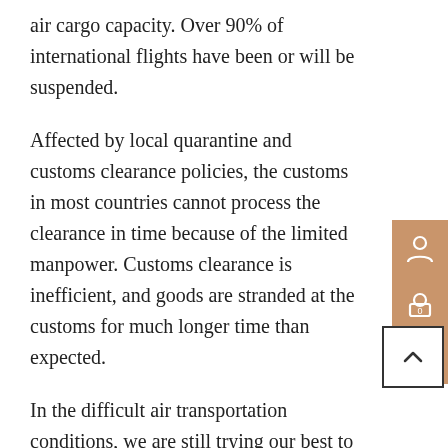air cargo capacity. Over 90% of international flights have been or will be suspended.
Affected by local quarantine and customs clearance policies, the customs in most countries cannot process the clearance in time because of the limited manpower. Customs clearance is inefficient, and goods are stranded at the customs for much longer time than expected.
In the difficult air transportation conditions, we are still trying our best to find reliable airlines for our customers, contact the local customs to shorten clearance time. Please give us some more time.
As customer satisfaction is always our top priority, we offer various shipping options to suit every